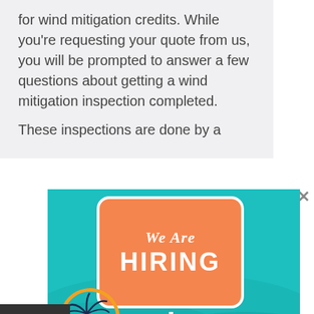for wind mitigation credits. While you’re requesting your quote from us, you will be prompted to answer a few questions about getting a wind mitigation inspection completed.
These inspections are done by a
[Figure (illustration): An advertisement image with a teal beach background. An orange rounded-rectangle sign reads 'We Are HIRING' in white text. A palm tree logo with an orange crescent appears at the bottom left. A semi-transparent overlay at bottom right shows 'Positions: Commercial Agent'. A blue scroll-to-top button is at the bottom right corner.]